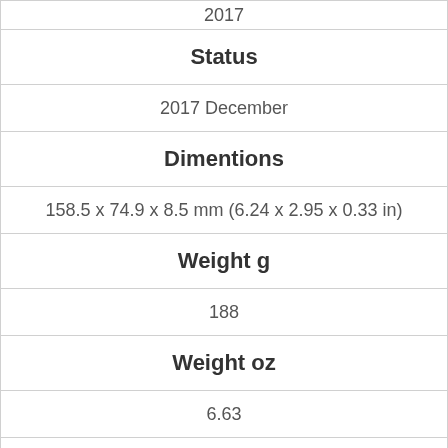| 2017 |
| Status |
| 2017 December |
| Dimentions |
| 158.5 x 74.9 x 8.5 mm (6.24 x 2.95 x 0.33 in) |
| Weight g |
| 188 |
| Weight oz |
| 6.63 |
| SIM |
|  |